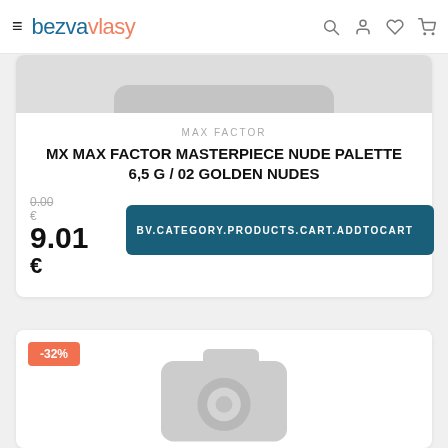bezvavlasy
[Figure (screenshot): Top portion of product image placeholder (grey rounded bar)]
MAX FACTOR
MX MAX FACTOR MASTERPIECE NUDE PALETTE 6,5 G / 02 GOLDEN NUDES
0.00 € / 9.01 €
BV.CATEGORY.PRODUCTS.CART.ADDTOCART
[Figure (photo): Second product card with -32% badge and camera placeholder icon]